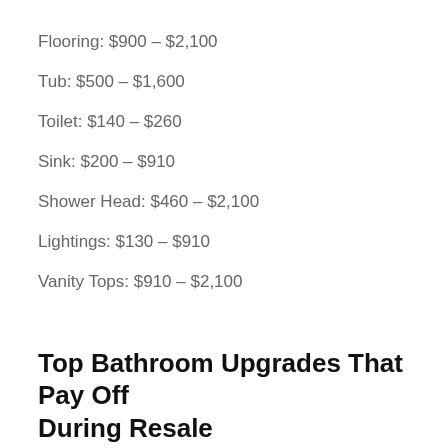Flooring: $900 – $2,100
Tub: $500 – $1,600
Toilet: $140 – $260
Sink: $200 – $910
Shower Head: $460 – $2,100
Lightings: $130 – $910
Vanity Tops: $910 – $2,100
Top Bathroom Upgrades That Pay Off During Resale